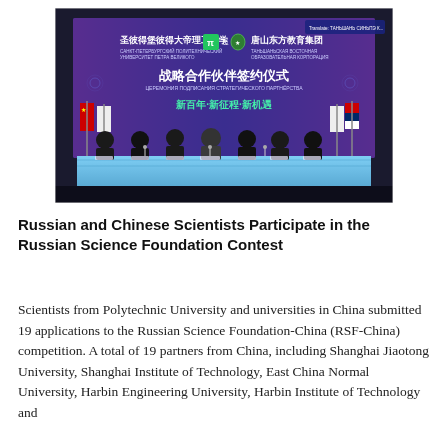[Figure (photo): A signing ceremony event between Saint Petersburg Polytechnic University and Tangshan Eastern Education Group. Seven participants sit at a long draped table with Chinese and Russian flags. A purple backdrop features Chinese and Russian text about a strategic partnership signing ceremony.]
Russian and Chinese Scientists Participate in the Russian Science Foundation Contest
Scientists from Polytechnic University and universities in China submitted 19 applications to the Russian Science Foundation-China (RSF-China) competition. A total of 19 partners from China, including Shanghai Jiaotong University, Shanghai Institute of Technology, East China Normal University, Harbin Engineering University, Harbin Institute of Technology and